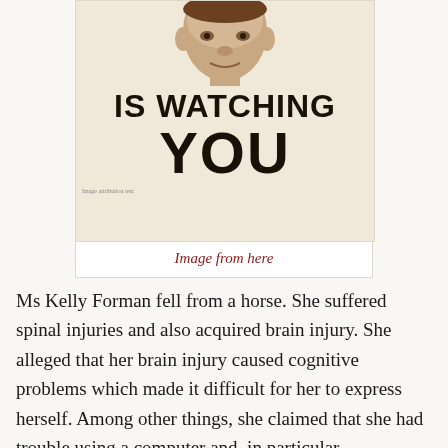[Figure (illustration): A poster with a face at the top (partially cropped) above bold text reading 'IS WATCHING YOU' on a cream/beige background]
Image from here
Ms Kelly Forman fell from a horse. She suffered spinal injuries and also acquired brain injury. She alleged that her brain injury caused cognitive problems which made it difficult for her to express herself. Among other things, she claimed that she had trouble using a computer and, in particular,